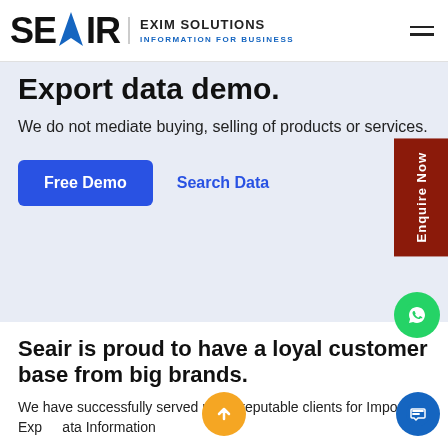SEAIR EXIM SOLUTIONS — INFORMATION FOR BUSINESS
Export data demo.
We do not mediate buying, selling of products or services.
Free Demo  Search Data
Seair is proud to have a loyal customer base from big brands.
We have successfully served many reputable clients for Import-Export Data Information